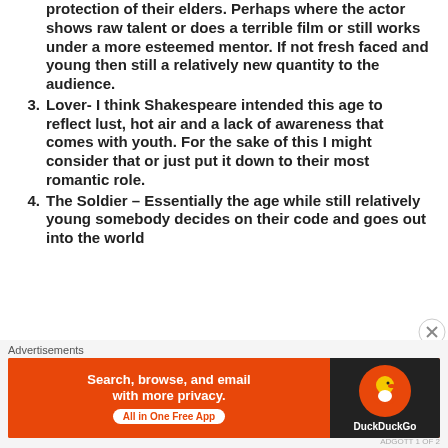protection of their elders. Perhaps where the actor shows raw talent or does a terrible film or still works under a more esteemed mentor. If not fresh faced and young then still a relatively new quantity to the audience.
3. Lover- I think Shakespeare intended this age to reflect lust, hot air and a lack of awareness that comes with youth. For the sake of this I might consider that or just put it down to their most romantic role.
4. The Soldier – Essentially the age while still relatively young somebody decides on their code and goes out into the world
Advertisements
[Figure (other): DuckDuckGo advertisement banner: 'Search, browse, and email with more privacy. All in One Free App' with DuckDuckGo logo on dark background.]